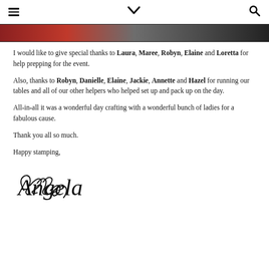≡  ⌄  🔍
[Figure (photo): Partial photo strip at top of page showing colorful scene]
I would like to give special thanks to Laura, Maree, Robyn, Elaine and Loretta for help prepping for the event.
Also, thanks to Robyn, Danielle, Elaine, Jackie, Annette and Hazel for running our tables and all of our other helpers who helped set up and pack up on the day.
All-in-all it was a wonderful day crafting with a wonderful bunch of ladies for a fabulous cause.
Thank you all so much.
Happy stamping,
[Figure (illustration): Handwritten cursive signature reading 'Angela']